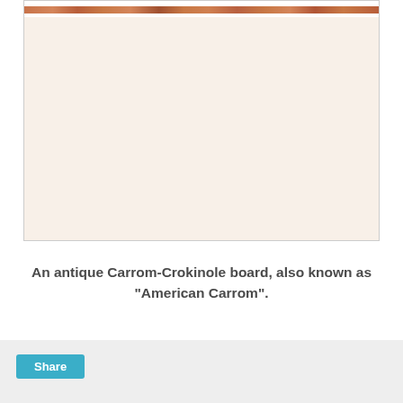[Figure (photo): Top portion of an antique Carrom-Crokinole board showing decorative painted woodwork with traditional patterns in orange, red and brown tones.]
An antique Carrom-Crokinole board, also known as "American Carrom".
Share